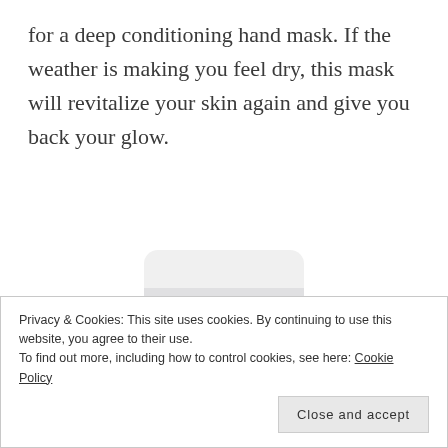for a deep conditioning hand mask. If the weather is making you feel dry, this mask will revitalize your skin again and give you back your glow.
[Figure (photo): White cylindrical cosmetic jar with lid, bearing the Le Mieux brand logo (a cross/shield emblem) and text 'Le Mieux' on the label]
Privacy & Cookies: This site uses cookies. By continuing to use this website, you agree to their use.
To find out more, including how to control cookies, see here: Cookie Policy
Close and accept